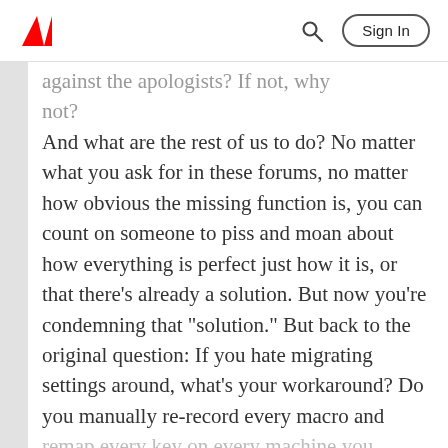Adobe | Sign In
against the apologists? If not, why not?
And what are the rest of us to do? No matter what you ask for in these forums, no matter how obvious the missing function is, you can count on someone to piss and moan about how everything is perfect just how it is, or that there's already a solution. But now you're condemning that "solution." But back to the original question: If you hate migrating settings around, what's your workaround? Do you manually re-record every macro and remap every key on every machine you